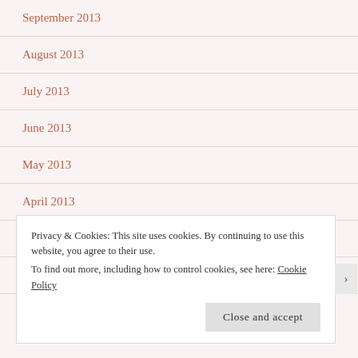September 2013
August 2013
July 2013
June 2013
May 2013
April 2013
March 2013
February 2013
Privacy & Cookies: This site uses cookies. By continuing to use this website, you agree to their use.
To find out more, including how to control cookies, see here: Cookie Policy
Close and accept